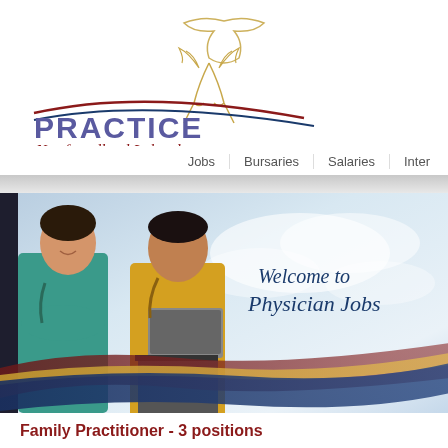[Figure (logo): Practice Newfoundland Labrador logo with bird/moose silhouette and swoosh lines in red and navy]
Jobs  Bursaries  Salaries  Inter...
[Figure (photo): Hero banner with two healthcare professionals (female nurse in teal scrubs and male doctor in yellow shirt holding laptop) against a cloudy sky background with decorative wave ribbons in maroon, gold, and navy. Text reads: Welcome to Physician Jobs]
Family Practitioner - 3 positions